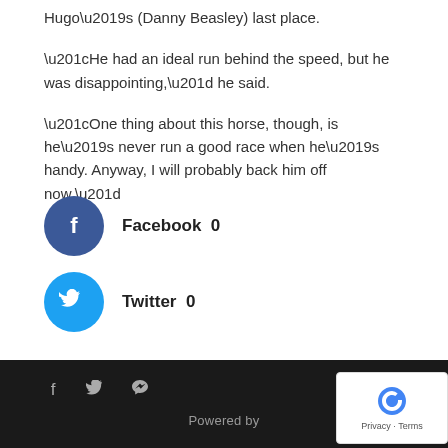Hugo's (Danny Beasley) last place.
“He had an ideal run behind the speed, but he was disappointing,” he said.
“One thing about this horse, though, is he’s never run a good race when he’s handy. Anyway, I will probably back him off now.”
[Figure (infographic): Facebook share button with dark blue circle containing letter f, label 'Facebook 0']
[Figure (infographic): Twitter share button with cyan circle containing bird icon, label 'Twitter 0']
Powered by